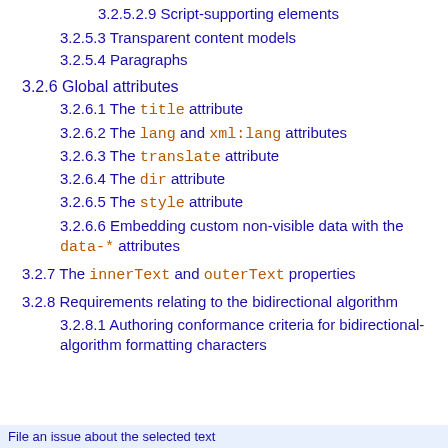3.2.5.2.9 Script-supporting elements
3.2.5.3 Transparent content models
3.2.5.4 Paragraphs
3.2.6 Global attributes
3.2.6.1 The title attribute
3.2.6.2 The lang and xml:lang attributes
3.2.6.3 The translate attribute
3.2.6.4 The dir attribute
3.2.6.5 The style attribute
3.2.6.6 Embedding custom non-visible data with the data-* attributes
3.2.7 The innerText and outerText properties
3.2.8 Requirements relating to the bidirectional algorithm
3.2.8.1 Authoring conformance criteria for bidirectional-algorithm formatting characters
File an issue about the selected text
3.2.8.2 User agent conformance criteria